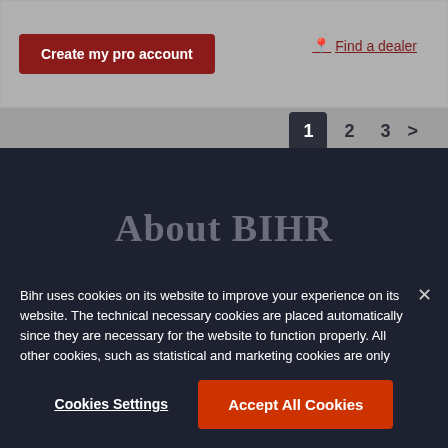[Figure (screenshot): Top section of a website with gray background, showing a 'Create my pro account' button and 'Find a dealer' link, plus pagination showing pages 1, 2, 3 with page 1 active]
About BIHR
Bihr uses cookies on its website to improve your experience on its website. The technical necessary cookies are placed automatically since they are necessary for the website to function properly. All other cookies, such as statistical and marketing cookies are only placed if you have given your prior consent.
Cookies Settings
Accept All Cookies